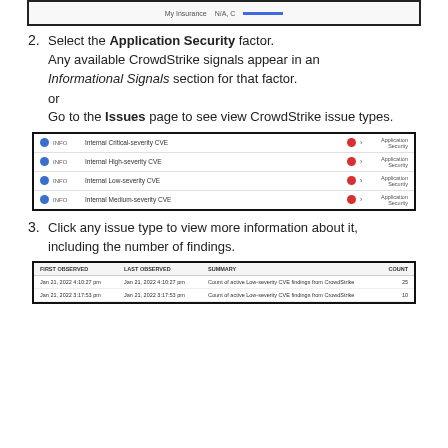[Figure (screenshot): Top portion of a UI screenshot showing a table row with 'My Insurance' and 'N/A, C' columns and a blue bar chart element]
2. Select the Application Security factor. Any available CrowdStrike signals appear in an Informational Signals section for that factor.
or
Go to the Issues page to see view CrowdStrike issue types.
[Figure (screenshot): Screenshot of Issues page showing four issue rows: Internal Critical-severity CVE, Internal High-severity CVE, Internal Low-severity CVE, Internal Medium-severity CVE, each with blue INFO label, red warning icon, arrow, and Application Security category]
3. Click any issue type to view more information about it, including the number of findings.
[Figure (screenshot): Screenshot of findings table with columns FIRST OBSERVED, LAST OBSERVED, SUMMARY, COUNT. Shows two rows with Jan 21, 2022 dates and 'Count of active Low-severity CVE findings from CrowdStrike' summaries with counts 25 and 10]